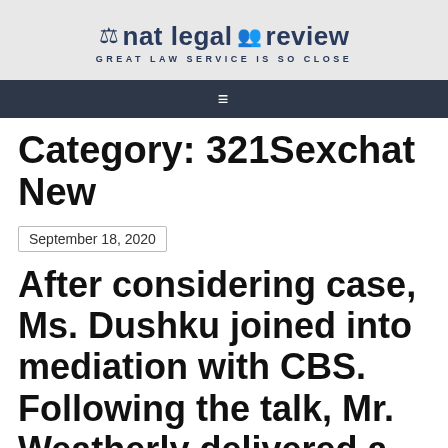nat legal review — GREAT LAW SERVICE IS SO CLOSE
Category: 321Sexchat New
September 18, 2020
After considering case, Ms. Dushku joined into mediation with CBS. Following the talk, Mr. Weatherly delivered a text to David Starl, the president of